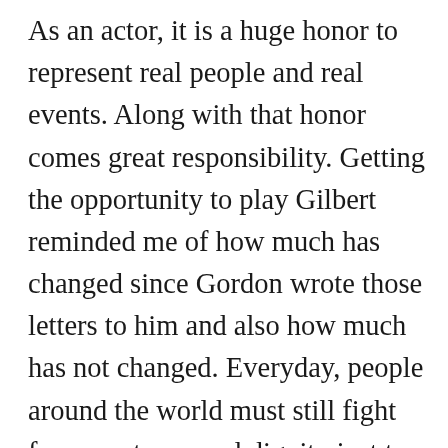As an actor, it is a huge honor to represent real people and real events. Along with that honor comes great responsibility. Getting the opportunity to play Gilbert reminded me of how much has changed since Gordon wrote those letters to him and also how much has not changed. Everyday, people around the world must still fight for acceptance and dignity just to be themselves. While we have been fortunate to see significant change in the way LGBTQ+ people are accepted in most western countries, there are still people abroad, and unfortunately, at home, who continue to struggle. Making this film was a